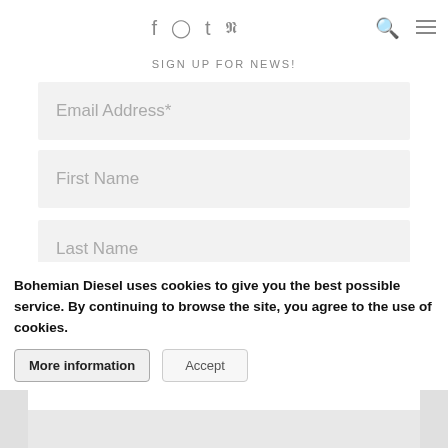f  [instagram]  t  p  [search]  [menu]
SIGN UP FOR NEWS!
Email Address*
First Name
Last Name
Subscribe
Bohemian Diesel uses cookies to give you the best possible service. By continuing to browse the site, you agree to the use of cookies.
More information
Accept